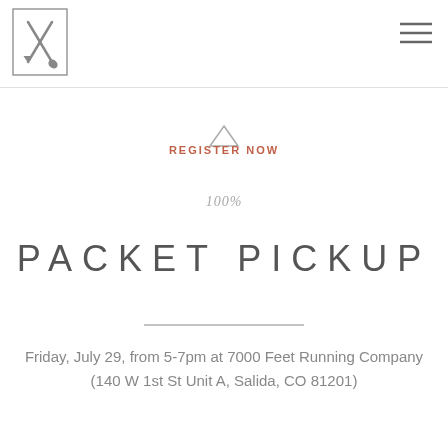[Figure (logo): Crossed tools (shovel and pick) logo with rectangular border]
[Figure (other): Hamburger menu icon (three horizontal lines)]
REGISTER NOW
100%
PACKET PICKUP
Friday, July 29, from 5-7pm at 7000 Feet Running Company (140 W 1st St Unit A, Salida, CO 81201)